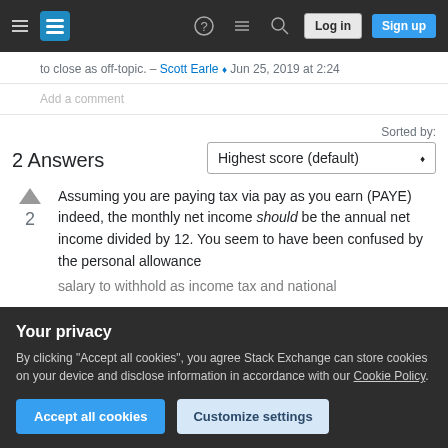Stack Exchange navigation bar with hamburger menu, logo, help, chat, search icons, Log in and Sign up buttons
to close as off-topic. – Scott Earle ♦ Jun 25, 2019 at 2:24
Add a comment
Sorted by:
2 Answers
Highest score (default)
Assuming you are paying tax via pay as you earn (PAYE) indeed, the monthly net income should be the annual net income divided by 12. You seem to have been confused by the personal allowance
Your privacy
By clicking "Accept all cookies", you agree Stack Exchange can store cookies on your device and disclose information in accordance with our Cookie Policy.
Accept all cookies
Customize settings
salary to withhold as income tax and national